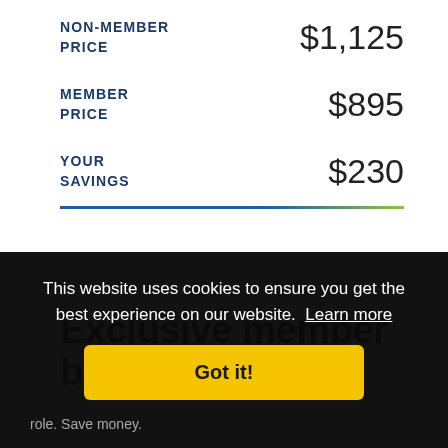NON-MEMBER PRICE   $1,125
MEMBER PRICE   $895
YOUR SAVINGS   $230
Exclusive member benefits
This website uses cookies to ensure you get the best experience on our website. Learn more
Got it!
role. Save money.